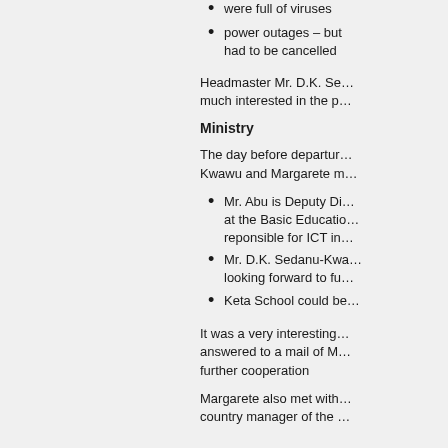were full of viruses
power outages – but had to be cancelled
Headmaster Mr. D.K. Se… much interested in the p…
Ministry
The day before departure Kwawu and Margarete m…
Mr. Abu is Deputy Di… at the Basic Educatio… reponsible for ICT in…
Mr. D.K. Sedanu-Kwa… looking forward to fu…
Keta School could be…
It was a very interesting… answered to a mail of M… further cooperation
Margarete also met with… country manager of the …